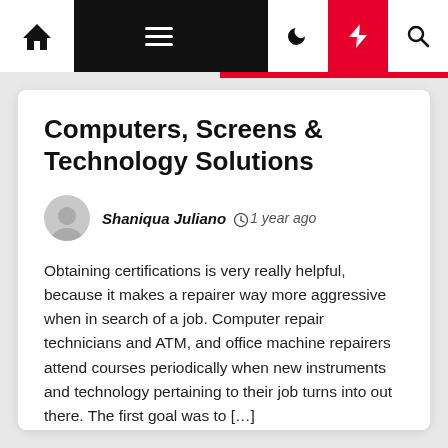Navigation bar with home, menu, moon, bolt, search icons
Computers, Screens & Technology Solutions
Shaniqua Juliano  1 year ago
Obtaining certifications is very really helpful, because it makes a repairer way more aggressive when in search of a job. Computer repair technicians and ATM, and office machine repairers attend courses periodically when new instruments and technology pertaining to their job turns into out there. The first goal was to […]